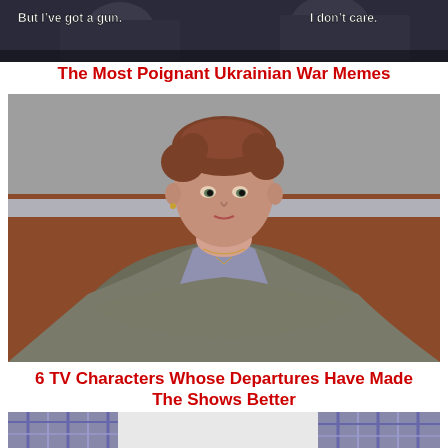[Figure (screenshot): Top cropped meme image with text captions: 'But I've got a gun.' on the left and 'I don't care.' on the right, dark scene with two figures]
The Most Poignant Ukrainian War Memes
[Figure (photo): Portrait photo of a woman with short curly auburn hair, wearing a grey knit cardigan over a lavender top, arms crossed, looking at camera with neutral expression, brownish background]
6 TV Characters Whose Departures Have Made The Shows Better
[Figure (photo): Partial bottom image showing a person seated, wearing plaid pants, white shorts, on a green surface — cropped at bottom of page]